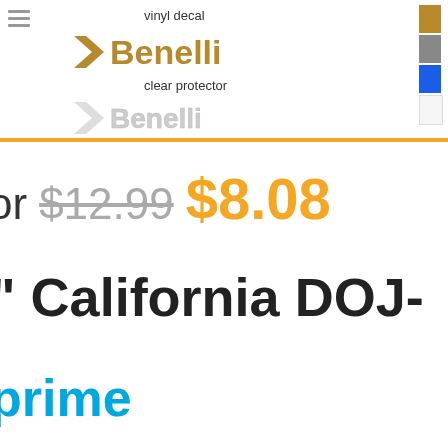[Figure (screenshot): Product listing screenshot showing Benelli vinyl decal and clear protector options with color swatches, price information, product title, and Amazon Prime badge]
vinyl decal
[Figure (logo): Benelli logo in gold/brown color]
clear protector
[Figure (logo): Benelli logo in clear/light color]
or $12.99 $8.08
" California DOJ-
prime